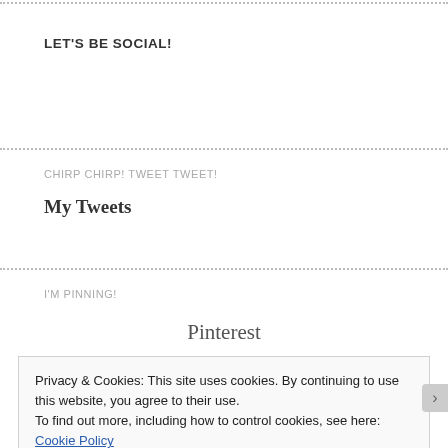LET'S BE SOCIAL!
CHIRP CHIRP! TWEET TWEET!
My Tweets
I'M PINNING!
Pinterest
Privacy & Cookies: This site uses cookies. By continuing to use this website, you agree to their use.
To find out more, including how to control cookies, see here: Cookie Policy
Close and accept